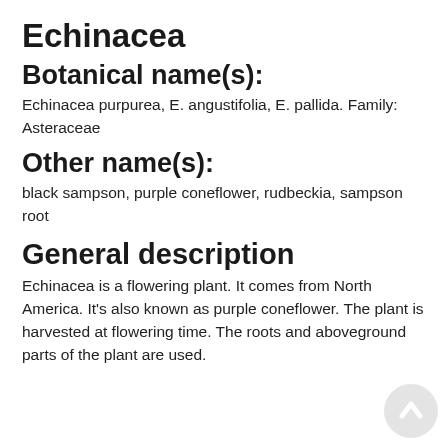Echinacea
Botanical name(s):
Echinacea purpurea, E. angustifolia, E. pallida. Family: Asteraceae
Other name(s):
black sampson, purple coneflower, rudbeckia, sampson root
General description
Echinacea is a flowering plant. It comes from North America. It's also known as purple coneflower. The plant is harvested at flowering time. The roots and aboveground parts of the plant are used.